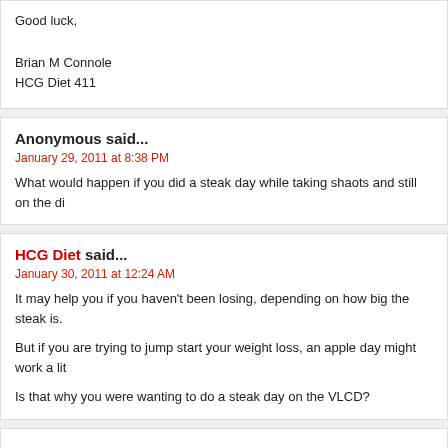Good luck,

Brian M Connole
HCG Diet 411
Anonymous said...
January 29, 2011 at 8:38 PM
What would happen if you did a steak day while taking shaots and still on the di
HCG Diet said...
January 30, 2011 at 12:24 AM
It may help you if you haven't been losing, depending on how big the steak is.

But if you are trying to jump start your weight loss, an apple day might work a lit

Is that why you were wanting to do a steak day on the VLCD?